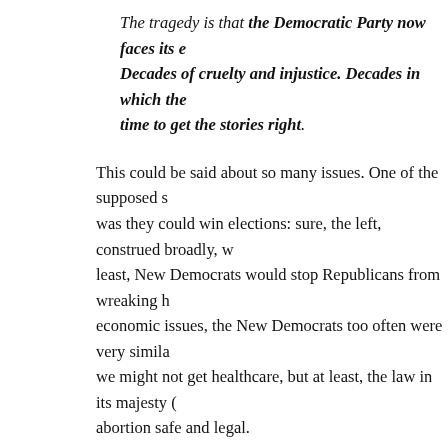The tragedy is that the Democratic Party now faces its e... Decades of cruelty and injustice. Decades in which the... time to get the stories right.
This could be said about so many issues. One of the supposed s... was they could win elections: sure, the left, construed broadly, w... least, New Democrats would stop Republicans from wreaking h... economic issues, the New Democrats too often were very simila... we might not get healthcare, but at least, the law in its majesty (... abortion safe and legal.
Meanwhile, this headline from a DailyKos post inadvertently di...
Democratic voters increasingly want 'figh...